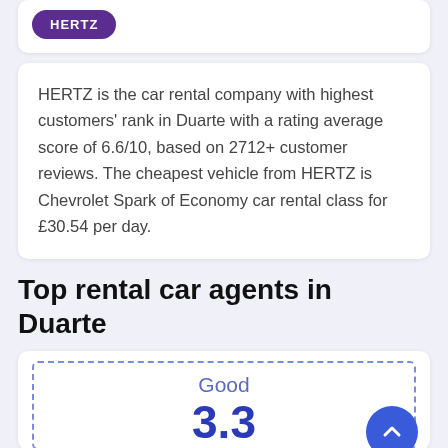[Figure (logo): HERTZ logo button - purple rounded rectangle with white text]
HERTZ is the car rental company with highest customers' rank in Duarte with a rating average score of 6.6/10, based on 2712+ customer reviews. The cheapest vehicle from HERTZ is Chevrolet Spark of Economy car rental class for £30.54 per day.
Top rental car agents in Duarte
[Figure (infographic): Rating card with dashed border showing 'Good' label in blue and large score number '3.3' in bold blue, with a blue circular scroll-up button in bottom right corner]